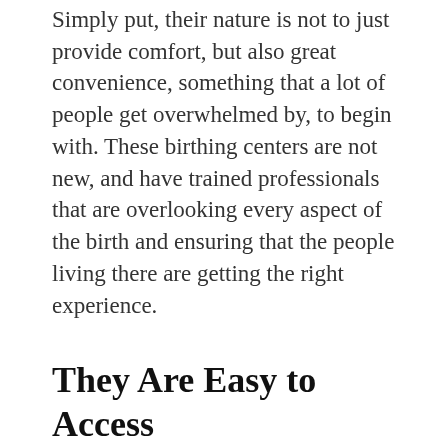Simply put, their nature is not to just provide comfort, but also great convenience, something that a lot of people get overwhelmed by, to begin with. These birthing centers are not new, and have trained professionals that are overlooking every aspect of the birth and ensuring that the people living there are getting the right experience.
They Are Easy to Access
One more thing here is that these centers are genuinely a lot more accessible than one might think. You can just choose the one that you want and settle with it without having to worry much about anything. It is simple, straightforward, and